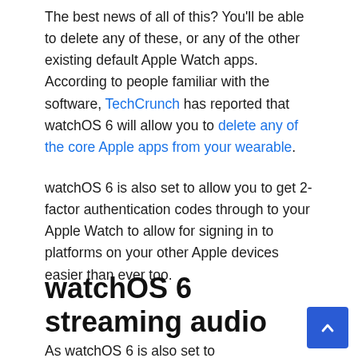The best news of all of this? You'll be able to delete any of these, or any of the other existing default Apple Watch apps. According to people familiar with the software, TechCrunch has reported that watchOS 6 will allow you to delete any of the core Apple apps from your wearable.
watchOS 6 is also set to allow you to get 2-factor authentication codes through to your Apple Watch to allow for signing in to platforms on your other Apple devices easier than ever too.
watchOS 6 streaming audio
As watchOS 6 is also set to...